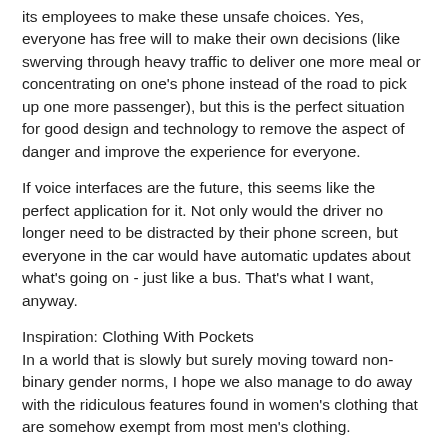its employees to make these unsafe choices. Yes, everyone has free will to make their own decisions (like swerving through heavy traffic to deliver one more meal or concentrating on one's phone instead of the road to pick up one more passenger), but this is the perfect situation for good design and technology to remove the aspect of danger and improve the experience for everyone.
If voice interfaces are the future, this seems like the perfect application for it. Not only would the driver no longer need to be distracted by their phone screen, but everyone in the car would have automatic updates about what's going on - just like a bus. That's what I want, anyway.
Inspiration: Clothing With Pockets
In a world that is slowly but surely moving toward non-binary gender norms, I hope we also manage to do away with the ridiculous features found in women's clothing that are somehow exempt from most men's clothing.
To me, the most frustrating "feature" is the lack of pockets on most women's clothing. I rarely deign to carry a purse around